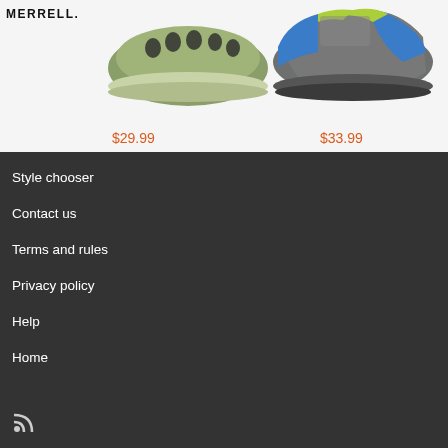[Figure (photo): Merrell logo and two shoes: a green clog-style shoe priced at $29.99 and a gray/blue/green hiking shoe priced at $33.99 on a light gray background]
$29.99
$33.99
Style chooser
Contact us
Terms and rules
Privacy policy
Help
Home
[Figure (other): RSS feed icon]